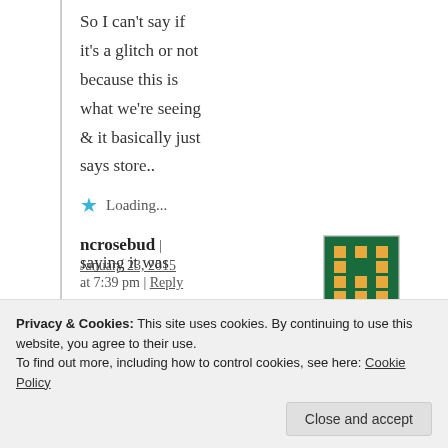So I can't say if it's a glitch or not because this is what we're seeing & it basically just says store..
★ Loading...
ncrosebud | January 23, 2015 at 7:39 pm | Reply
[Figure (other): User avatar/identicon: green background with orange pixel pattern]
I am 100% sure it said the Red
saying it was
Privacy & Cookies: This site uses cookies. By continuing to use this website, you agree to their use.
To find out more, including how to control cookies, see here: Cookie Policy
Close and accept